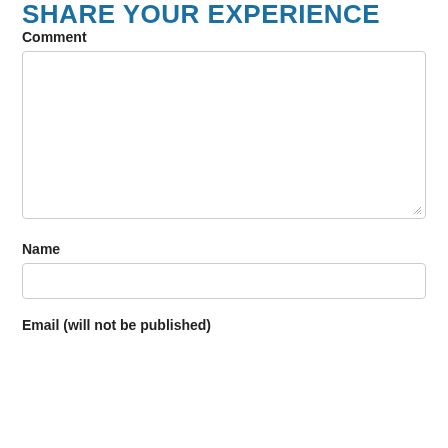SHARE YOUR EXPERIENCE
Comment
[Figure (other): Large empty textarea input box with resize handle in bottom-right corner]
Name
[Figure (other): Single-line text input box for Name field]
Email (will not be published)